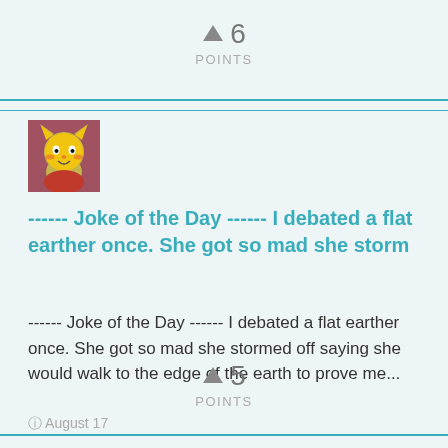↑ 6
POINTS
[Figure (illustration): Cartoon yellow cat/fox character avatar with red background]
------ Joke of the Day ------ I debated a flat earther once. She got so mad she storm
------ Joke of the Day ------ I debated a flat earther once. She got so mad she stormed off saying she would walk to the edge of the earth to prove me...
© August 17
↑ 5
POINTS